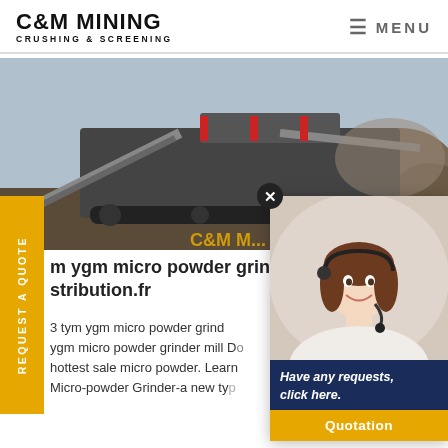C&M MINING CRUSHING & SCREENING | MENU
[Figure (photo): Large mobile crushing and screening machine on a construction/mining site, with conveyor belts and heavy machinery, outdoor setting with rocky terrain. Partial text 'C&M M...' visible at bottom of image.]
[Figure (photo): Customer service representative (woman with headset/microphone, smiling) popup overlay on right side of page, with dark navy blue box below containing italic text 'Have any requests, click here.' and a gold 'Quotation' button.]
m ygm micro powder grinder distribution.fr
3 tym ygm micro powder grinder ygm micro powder grinder mill Do hottest sale micro powder. Learn Micro-powder Grinder-a new ty...